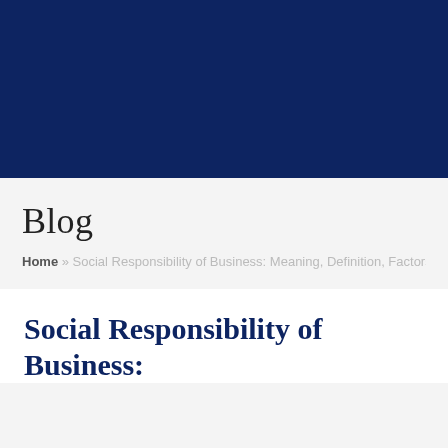[Figure (other): Dark navy blue header banner image spanning full width of page]
Blog
Home » Social Responsibility of Business: Meaning, Definition, Factors Affecting
Social Responsibility of Business: